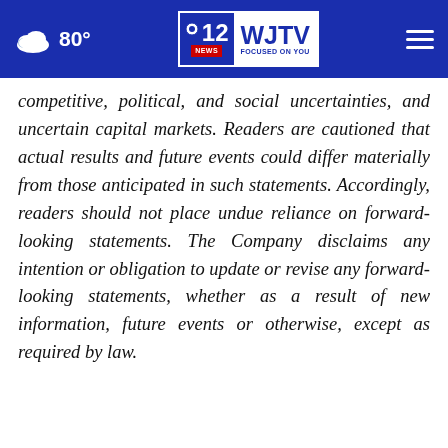80° | WJTV 12 News Focused On You
competitive, political, and social uncertainties, and uncertain capital markets. Readers are cautioned that actual results and future events could differ materially from those anticipated in such statements. Accordingly, readers should not place undue reliance on forward-looking statements. The Company disclaims any intention or obligation to update or revise any forward-looking statements, whether as a result of new information, future events or otherwise, except as required by law.